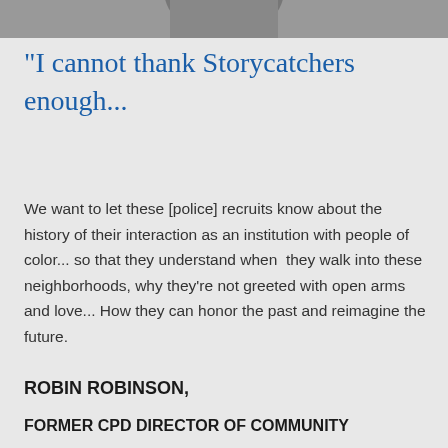[Figure (photo): Partial photo strip at top of page showing a person]
“I cannot thank Storycatchers enough...
We want to let these [police] recruits know about the history of their interaction as an institution with people of color... so that they understand when they walk into these neighborhoods, why they’re not greeted with open arms and love... How they can honor the past and reimagine the future.
ROBIN ROBINSON,
FORMER CPD DIRECTOR OF COMMUNITY